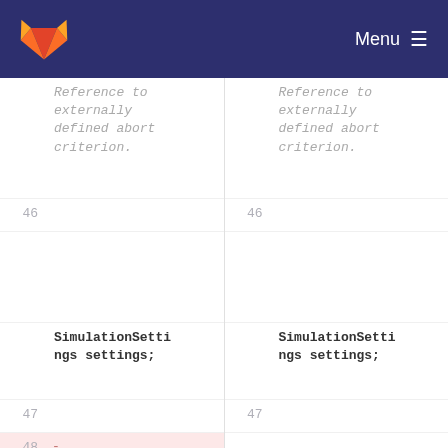Menu
46  Reference to externally defined abort criterion.
47  SimulationSettings settings;
48  - VistaVector3D v3SourcePosition;
49  -
46  Reference to externally defined abort criterion.
47  SimulationSettings settings;